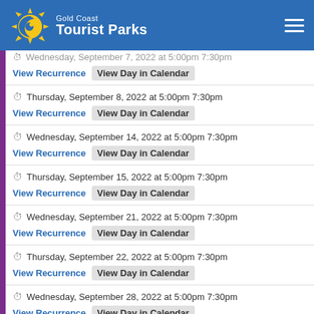[Figure (logo): Gold Coast Tourist Parks logo with sun and swirl icon on blue header background]
Wednesday, September 7, 2022 at 5:00pm 7:30pm — View Recurrence | View Day in Calendar
Thursday, September 8, 2022 at 5:00pm 7:30pm — View Recurrence | View Day in Calendar
Wednesday, September 14, 2022 at 5:00pm 7:30pm — View Recurrence | View Day in Calendar
Thursday, September 15, 2022 at 5:00pm 7:30pm — View Recurrence | View Day in Calendar
Wednesday, September 21, 2022 at 5:00pm 7:30pm — View Recurrence | View Day in Calendar
Thursday, September 22, 2022 at 5:00pm 7:30pm — View Recurrence | View Day in Calendar
Wednesday, September 28, 2022 at 5:00pm 7:30pm — View Recurrence | View Day in Calendar